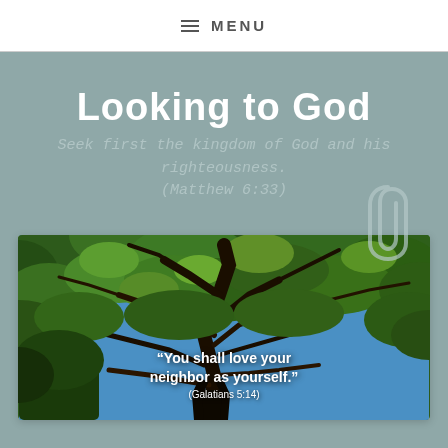☰ MENU
Looking to God
Seek first the kingdom of God and his righteousness. (Matthew 6:33)
[Figure (photo): Upward view through a large tree canopy with green leaves and branches against a blue sky. A text overlay reads: "You shall love your neighbor as yourself." (Galatians 5:14)]